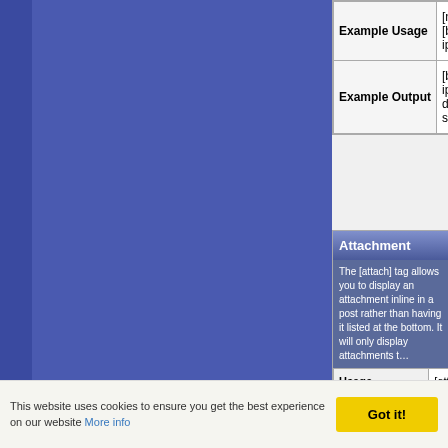|  |  |
| --- | --- |
| Example Usage | [noparse][b]Lorem ipsu... |
| Example Output | [b]Lorem ipsum dolor si... |
| Attachment |
| --- |
| The [attach] tag allows you to display an attachment inline in a post rather than having it listed at the bottom. It will only display attachments t... |
| Usage | [attach]attachmentid[/a... |
| Example Usage | [attach]12345[/attach] |
| Example Output |  |
All times are GMT +
This website uses cookies to ensure you get the best experience on our website More info